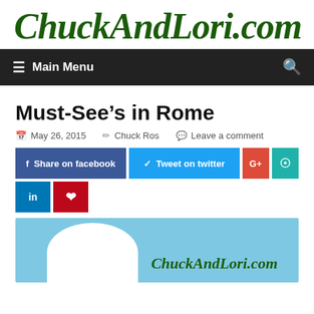ChuckAndLori.com
Main Menu
Must-See’s in Rome
May 26, 2015  Chuck Ros  Leave a comment
Share on facebook  Tweet on twitter
[Figure (screenshot): Blue sky background with white dome shape and ChuckAndLori.com logo watermark]